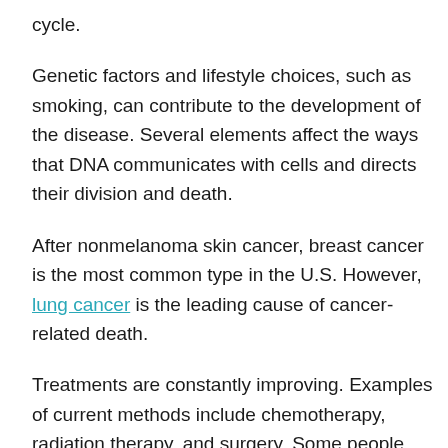cycle.
Genetic factors and lifestyle choices, such as smoking, can contribute to the development of the disease. Several elements affect the ways that DNA communicates with cells and directs their division and death.
After nonmelanoma skin cancer, breast cancer is the most common type in the U.S. However, lung cancer is the leading cause of cancer-related death.
Treatments are constantly improving. Examples of current methods include chemotherapy, radiation therapy, and surgery. Some people benefit from newer options, such as stem cell transplantation and precision medicine.
The diagnosis and death rates of cancer are dropping